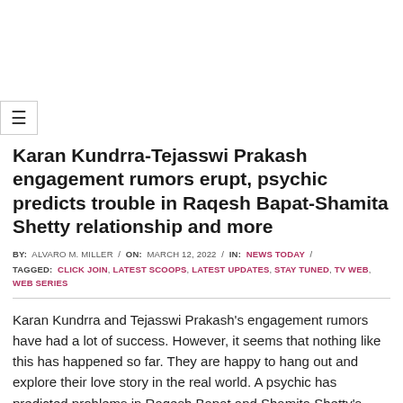[Figure (other): Hamburger menu button icon (three horizontal lines) inside a bordered box]
Karan Kundrra-Tejasswi Prakash engagement rumors erupt, psychic predicts trouble in Raqesh Bapat-Shamita Shetty relationship and more
BY: ALVARO M. MILLER / ON: MARCH 12, 2022 / IN: NEWS TODAY / TAGGED: CLICK JOIN, LATEST SCOOPS, LATEST UPDATES, STAY TUNED, TV WEB, WEB SERIES
Karan Kundrra and Tejasswi Prakash's engagement rumors have had a lot of success. However, it seems that nothing like this has happened so far. They are happy to hang out and explore their love story in the real world. A psychic has predicted problems in Raqesh Bapat and Shamita Shetty's relationship due to interference from